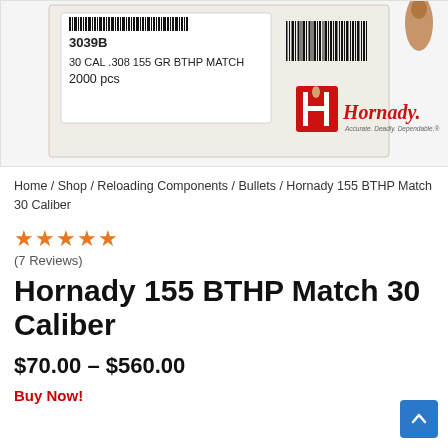[Figure (photo): Product photo of Hornady 155 BTHP Match 30 Caliber box showing barcode label '3039B 30 CAL .308 155 GR BTHP MATCH 2000 pcs' and Hornady logo with tagline 'Accurate. Deadly. Dependable.']
Home / Shop / Reloading Components / Bullets / Hornady 155 BTHP Match 30 Caliber
★★★★★ (7 Reviews)
Hornady 155 BTHP Match 30 Caliber
$70.00 – $560.00
Buy Now!